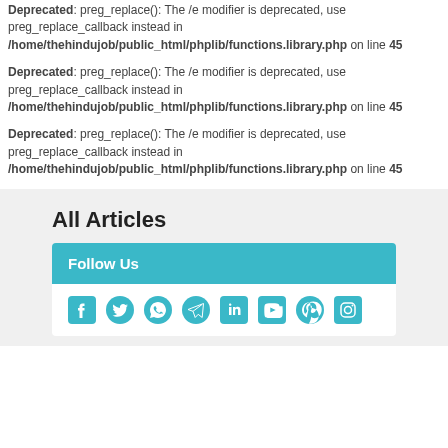Deprecated: preg_replace(): The /e modifier is deprecated, use preg_replace_callback instead in /home/thehindujob/public_html/phplib/functions.library.php on line 45
Deprecated: preg_replace(): The /e modifier is deprecated, use preg_replace_callback instead in /home/thehindujob/public_html/phplib/functions.library.php on line 45
Deprecated: preg_replace(): The /e modifier is deprecated, use preg_replace_callback instead in /home/thehindujob/public_html/phplib/functions.library.php on line 45
All Articles
Follow Us